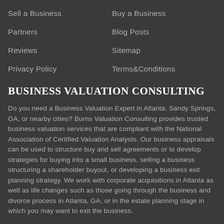Sell a Business
Buy a Business
Partners
Blog Posts
Reviews
Sitemap
Privacy Policy
Terms&Conditions
BUSINESS VALUATION CONSULTING
Do you need a Business Valuation Expert in Atlanta, Sandy Springs, GA, or nearby cities? Burns Valuation Consulting provides trusted business valuation services that are compliant with the National Association of Certified Valuation Analysts. Our business appraisals can be used to structure buy and sell agreements or to develop strategies for buying into a small business, selling a business structuring a shareholder buyout, or developing a business exit planning strategy. We work with corporate acquisitions in Atlanta as well as life changes such as those going through the business and divorce process in Atlanta, GA, or in the estate planning stage in which you may want to exit the business.